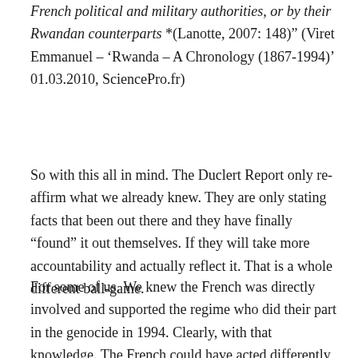French political and military authorities, or by their Rwandan counterparts *(Lanotte, 2007: 148)” (Viret Emmanuel – ‘Rwanda – A Chronology (1867-1994)’ 01.03.2010, SciencePro.fr)
So with this all in mind. The Duclert Report only re-affirm what we already knew. They are only stating facts that been out there and they have finally “found” it out themselves. If they will take more accountability and actually reflect it. That is a whole different ball-game.
For some of us. We knew the French was directly involved and supported the regime who did their part in the genocide in 1994. Clearly, with that knowledge. The French could have acted differently and not participated in